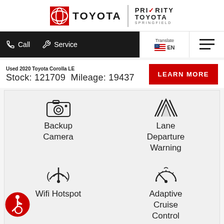[Figure (logo): Toyota logo with Priority Toyota Springfield branding]
Call  Service  Translate EN
Used 2020 Toyota Corolla LE
Stock: 121709  Mileage: 19437
LEARN MORE
Backup Camera
Lane Departure Warning
Wifi Hotspot
Adaptive Cruise Control
[Figure (illustration): Accessibility wheelchair icon badge]